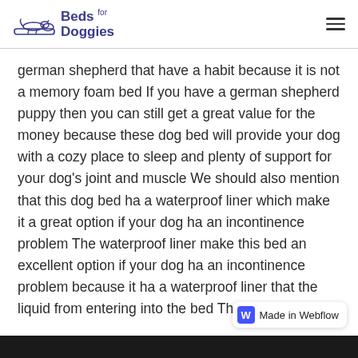Beds for Doggies
german shepherd that have a habit because it is not a memory foam bed If you have a german shepherd puppy then you can still get a great value for the money because these dog bed will provide your dog with a cozy place to sleep and plenty of support for your dog's joint and muscle We should also mention that this dog bed ha a waterproof liner which make it a great option if your dog ha an incontinence problem The waterproof liner make this bed an excellent option if your dog ha an incontinence problem because it ha a waterproof liner that the liquid from entering into the bed There is
Made in Webflow